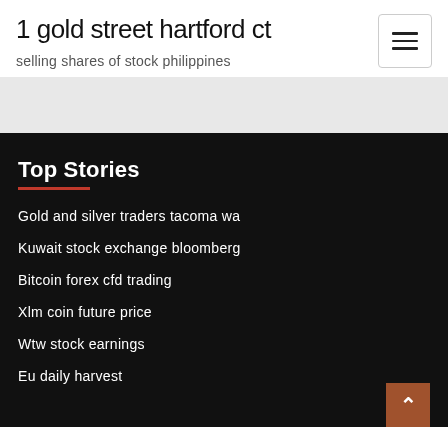1 gold street hartford ct
selling shares of stock philippines
Top Stories
Gold and silver traders tacoma wa
Kuwait stock exchange bloomberg
Bitcoin forex cfd trading
Xlm coin future price
Wtw stock earnings
Eu daily harvest